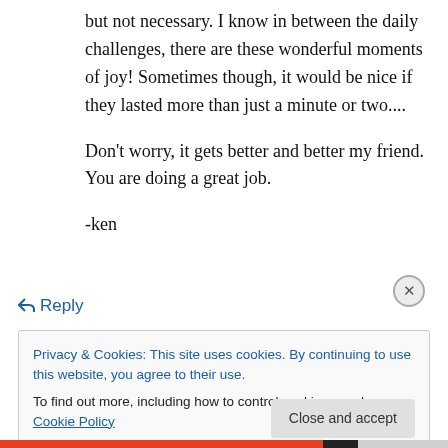but not necessary. I know in between the daily challenges, there are these wonderful moments of joy! Sometimes though, it would be nice if they lasted more than just a minute or two....

Don't worry, it gets better and better my friend. You are doing a great job.

-ken
↳ Reply
Privacy & Cookies: This site uses cookies. By continuing to use this website, you agree to their use.
To find out more, including how to control cookies, see here: Cookie Policy
Close and accept